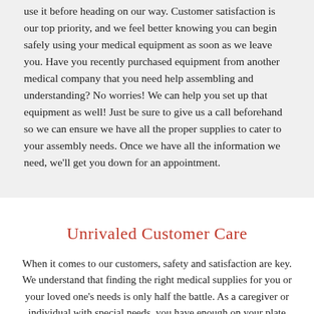use it before heading on our way. Customer satisfaction is our top priority, and we feel better knowing you can begin safely using your medical equipment as soon as we leave you. Have you recently purchased equipment from another medical company that you need help assembling and understanding? No worries! We can help you set up that equipment as well! Just be sure to give us a call beforehand so we can ensure we have all the proper supplies to cater to your assembly needs. Once we have all the information we need, we'll get you down for an appointment.
Unrivaled Customer Care
When it comes to our customers, safety and satisfaction are key. We understand that finding the right medical supplies for you or your loved one's needs is only half the battle. As a caregiver or individual with special needs, you have enough on your plate without having to juggle getting the equipment to your space, assembling it, and figuring out how to operate it. At